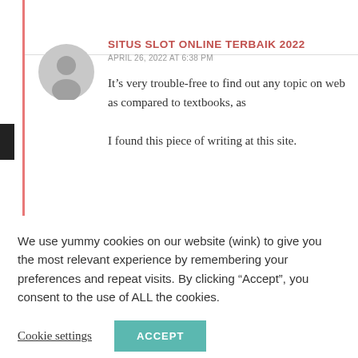SITUS SLOT ONLINE TERBAIK 2022
APRIL 26, 2022 AT 6:38 PM
It’s very trouble-free to find out any topic on web as compared to textbooks, as I found this piece of writing at this site.
We use yummy cookies on our website (wink) to give you the most relevant experience by remembering your preferences and repeat visits. By clicking “Accept”, you consent to the use of ALL the cookies.
Cookie settings
ACCEPT